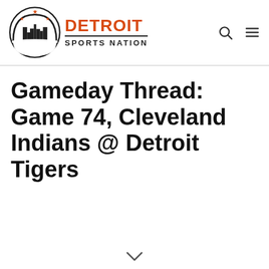Detroit Sports Nation
Gameday Thread: Game 74, Cleveland Indians @ Detroit Tigers